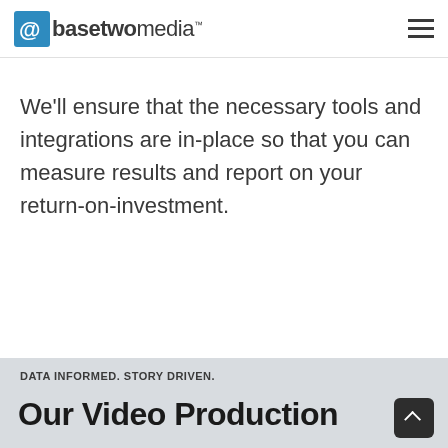basetwomedia
We'll ensure that the necessary tools and integrations are in-place so that you can measure results and report on your return-on-investment.
DATA INFORMED. STORY DRIVEN.
Our Video Production